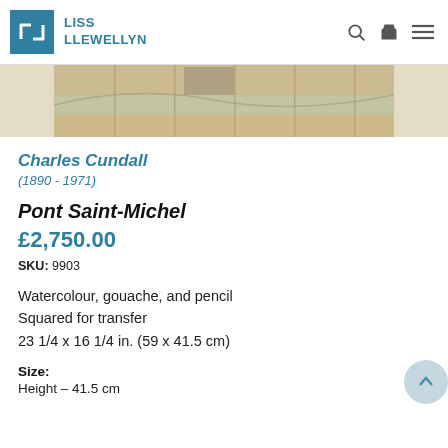LISS LLEWELLYN
[Figure (photo): Partial view of a horizontal artwork showing a bridge or architectural scene in muted watercolour tones of tan, beige, grey-green.]
Charles Cundall
(1890 - 1971)
Pont Saint-Michel
£2,750.00
SKU: 9903
Watercolour, gouache, and pencil
Squared for transfer
23 1/4 x 16 1/4 in. (59 x 41.5 cm)
Size:
Height – 41.5 cm